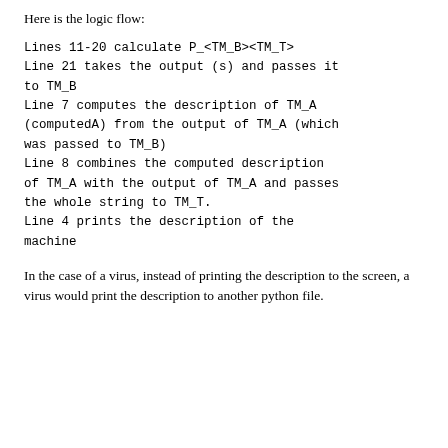Here is the logic flow:
Lines 11-20 calculate P_<TM_B><TM_T>
Line 21 takes the output (s) and passes it to TM_B
Line 7 computes the description of TM_A (computedA) from the output of TM_A (which was passed to TM_B)
Line 8 combines the computed description of TM_A with the output of TM_A and passes the whole string to TM_T.
Line 4 prints the description of the machine
In the case of a virus, instead of printing the description to the screen, a virus would print the description to another python file.